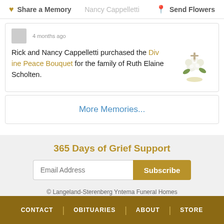Share a Memory | Nancy Cappelletti | Send Flowers
Rick and Nancy Cappelletti purchased the Divine Peace Bouquet for the family of Ruth Elaine Scholten.
More Memories...
365 Days of Grief Support
Email Address
Subscribe
© Langeland-Sterenberg Yntema Funeral Homes
Website Designed by funeralOne
CONTACT | OBITUARIES | ABOUT | STORE